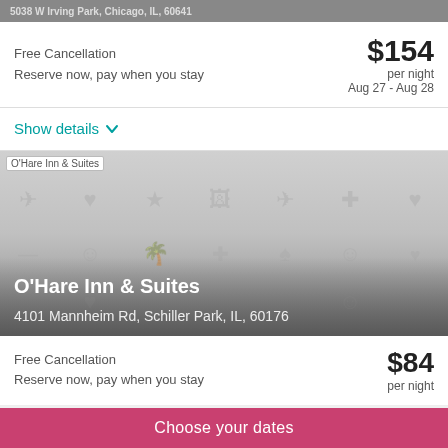5038 W Irving Park, Chicago, IL, 60641
Free Cancellation
Reserve now, pay when you stay
$154 per night
Aug 27 - Aug 28
Show details
[Figure (photo): O'Hare Inn & Suites hotel placeholder image with icon grid overlay, hotel name and address overlaid at bottom]
Free Cancellation
Reserve now, pay when you stay
$84 per night
Choose your dates